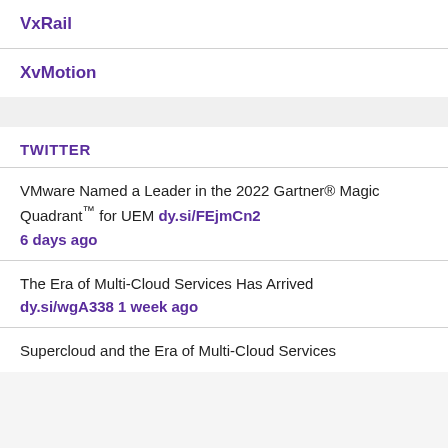VxRail
XvMotion
TWITTER
VMware Named a Leader in the 2022 Gartner® Magic Quadrant™ for UEM dy.si/FEjmCn2
6 days ago
The Era of Multi-Cloud Services Has Arrived dy.si/wgA338 1 week ago
Supercloud and the Era of Multi-Cloud Services